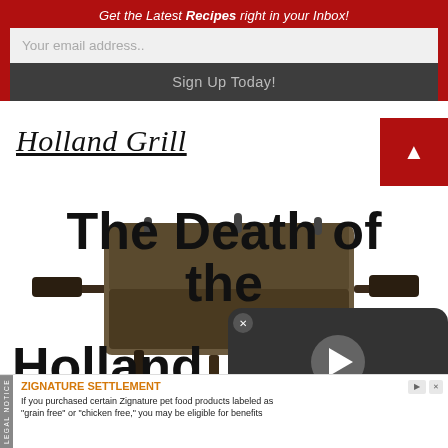Get the Latest Recipes right in your Inbox!
Your email address..
Sign Up Today!
Holland Grill
The Death of the Holland
[Figure (photo): Holland Grill product photo and video overlay with play button]
ZIGNATURE SETTLEMENT
If you purchased certain Zignature pet food products labeled as "grain free" or "chicken free," you may be eligible for benefits